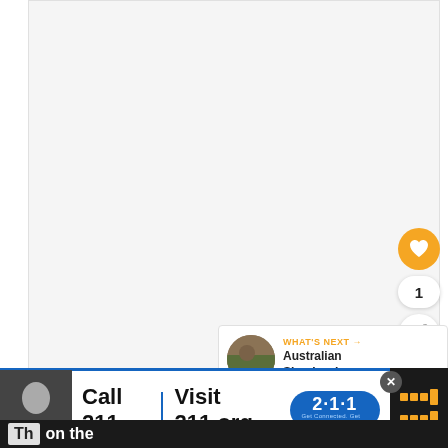ADVERTISEMENT
[Figure (other): Large blank advertisement area with light gray background]
[Figure (infographic): Golden circular heart/favorite button (FAB)]
1
[Figure (infographic): White circular share button (FAB)]
[Figure (infographic): What's Next panel showing thumbnail image and text: WHAT'S NEXT → Australian Shepherd...]
[Figure (infographic): Bottom advertisement banner: Call 211 | Visit 211.org with 2-1-1 logo button and a man's photo. Has close X button.]
Th on the